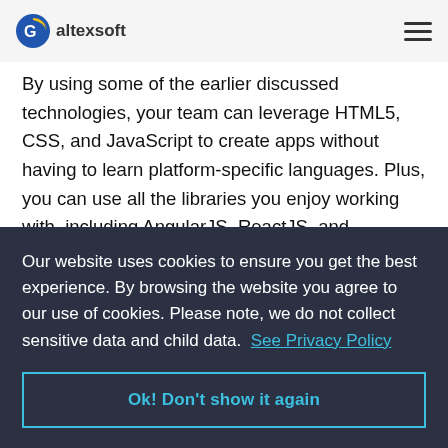altexsoft
By using some of the earlier discussed technologies, your team can leverage HTML5, CSS, and JavaScript to create apps without having to learn platform-specific languages. Plus, you can use all the libraries you enjoy working with, including AngularJS, ReactJS, and Ember.js.
You’re short on time.
If the required time to market is less than six months, the
Our website uses cookies to ensure you get the best experience. By browsing the website you agree to our use of cookies. Please note, we do not collect sensitive data and child data.  See Privacy Policy
Ok! Don't show it again